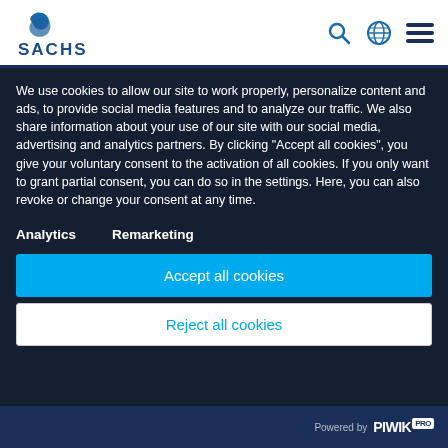[Figure (logo): SACHS logo with blue swoosh icon and SACHS text in blue]
We use cookies to allow our site to work properly, personalize content and ads, to provide social media features and to analyze our traffic. We also share information about your use of our site with our social media, advertising and analytics partners. By clicking "Accept all cookies", you give your voluntary consent to the activation of all cookies. If you only want to grant partial consent, you can do so in the settings. Here, you can also revoke or change your consent at any time.
Analytics
Remarketing
Accept all cookies
Reject all cookies
Powered by PIWIK PRO